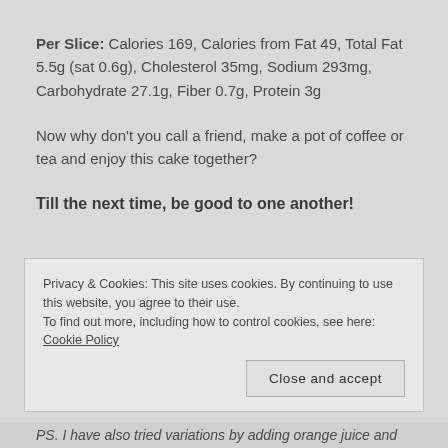Per Slice: Calories 169, Calories from Fat 49, Total Fat 5.5g (sat 0.6g), Cholesterol 35mg, Sodium 293mg, Carbohydrate 27.1g, Fiber 0.7g, Protein 3g
Now why don't you call a friend, make a pot of coffee or tea and enjoy this cake together?
Till the next time, be good to one another!
Privacy & Cookies: This site uses cookies. By continuing to use this website, you agree to their use.
To find out more, including how to control cookies, see here: Cookie Policy
Close and accept
PS. I have also tried variations by adding orange juice and